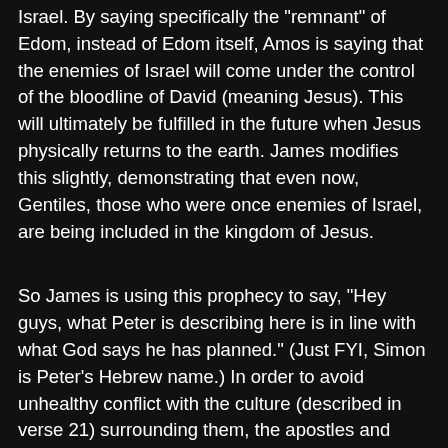Israel. By saying specifically the "remnant" of Edom, instead of Edom itself, Amos is saying that the enemies of Israel will come under the control of the bloodline of David (meaning Jesus). This will ultimately be fulfilled in the future when Jesus physically returns to the earth. James modifies this slightly, demonstrating that even now, Gentiles, those who were once enemies of Israel, are being included in the kingdom of Jesus.
So James is using this prophecy to say, "Hey guys, what Peter is describing here is in line with what God says he has planned." (Just FYI, Simon is Peter's Hebrew name.) In order to avoid unhealthy conflict with the culture (described in verse 21) surrounding them, the apostles and elders create a short list of activities to avoid. Some of which are part of moral law that should be followed regardless of culture, and some that are purely cultural, but were held to strongly in the Jewish communities. Sometimes, we are to obey laws and customs that God does not require of us, so that we can more easily get along with others. For more on this issue, look at Romans 14 and 1st Corinthians 8.